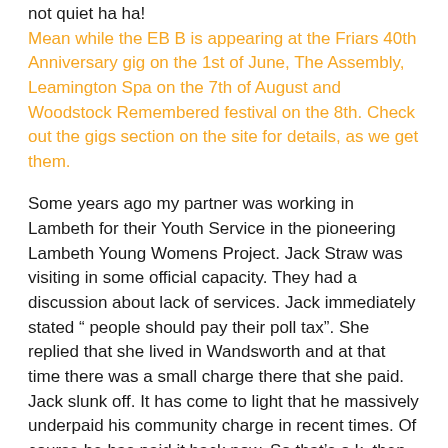not quiet ha ha!
Mean while the EB B is appearing at the Friars 40th Anniversary gig on the 1st of June, The Assembly, Leamington Spa on the 7th of August and Woodstock Remembered festival on the 8th. Check out the gigs section on the site for details, as we get them.
Some years ago my partner was working in Lambeth for their Youth Service in the pioneering Lambeth Young Womens Project. Jack Straw was visiting in some official capacity. They had a discussion about lack of services. Jack immediately stated “ people should pay their poll tax”. She replied that she lived in Wandsworth and at that time there was a small charge there that she paid. Jack slunk off. It has come to light that he massively underpaid his community charge in recent times. Of course he has paid it back now. So that’s o.k. then Jack. The long list of sleazy expenses is growing every day.
Some years ago, while managing the technical operation on the wandsworth youth radio station Fundamental FM, I witnessed an interview between teenagers and Home Office